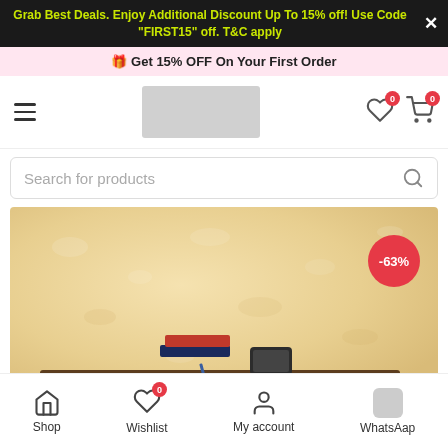Grab Best Deals. Enjoy Additional Discount Up To 15% off! Use Code "FIRST15" off. T&C apply
🎁 Get 15% OFF On Your First Order
[Figure (screenshot): E-commerce website navigation bar with hamburger menu, logo placeholder, wishlist icon (badge 0), and cart icon (badge 0)]
[Figure (screenshot): Search bar with placeholder text 'Search for products' and search icon]
[Figure (photo): Product photo showing a wooden desk shelf with books and items, on a textured cream/beige wall background, with -63% discount badge]
Shop  Wishlist  My account  WhatsAap